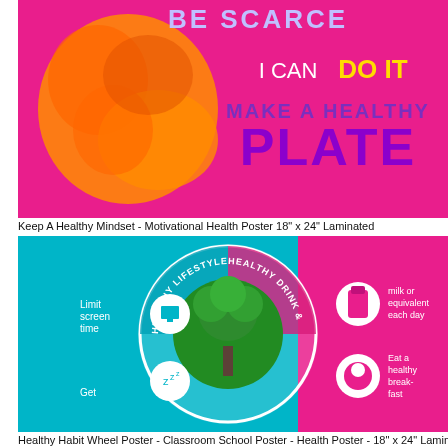[Figure (illustration): Motivational health poster with hot pink/magenta background showing an orange brain graphic on the left and text: 'BE SCARCE', 'I CAN DO IT', 'MAKE A HEALTHY PLATE' on the right]
Keep A Healthy Mindset - Motivational Health Poster 18" x 24" Laminated
[Figure (infographic): Healthy Habit Wheel Poster showing a colorful circular wheel on teal/pink background with sections: Healthy Lifestyle (limit screen time, get sleep), Healthy Drink, and other healthy habit categories with icons and a broccoli tree in the center. Text includes 'Limit screen time', 'Get', milk or equivalent each day', 'Eat a healthy breakfast']
Healthy Habit Wheel Poster - Classroom School Poster - Health Poster - 18" x 24" Laminated
[Figure (photo): Lead With Your Fork Poster showing a plate-shaped collage of food photos: fruits, vegetables, grains, and proteins arranged in a circular plate shape with a white fork silhouette]
Lead With Your Fork Poster - 18" x 24" Laminated Nutrition Poster
[Figure (illustration): Nutrition poster with teal background showing photos of fruits, vegetables, and grains on left side and bullet points listing '-dense whole foods: Fruits, Vegetables' on right side with yellow and green text]